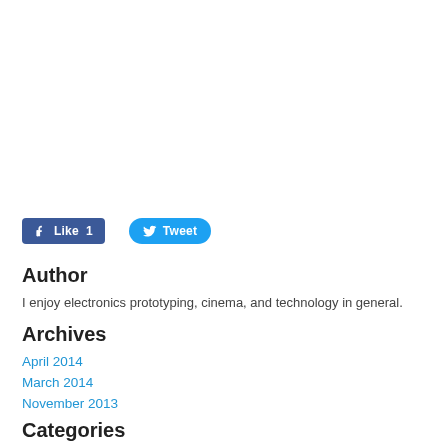[Figure (other): Facebook Like button with count 1 and Twitter Tweet button]
Author
I enjoy electronics prototyping, cinema, and technology in general.
Archives
April 2014
March 2014
November 2013
Categories